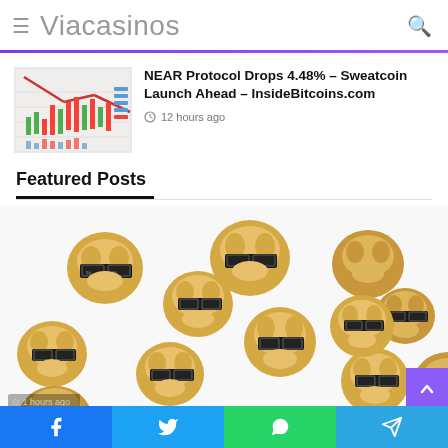Viacasinos
NEAR Protocol Drops 4.48% – Sweatcoin Launch Ahead – InsideBitcoins.com
12 hours ago
Featured Posts
[Figure (photo): Multiple Shiba Inu dog meme faces (Doge) with sunglasses scattered across a white background]
Facebook | Twitter | WhatsApp | Telegram social share bar